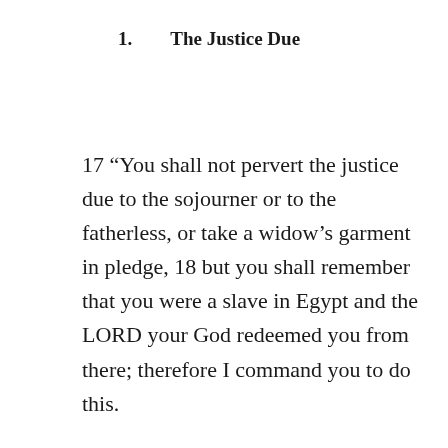1.        The Justice Due
17 “You shall not pervert the justice due to the sojourner or to the fatherless, or take a widow’s garment in pledge, 18 but you shall remember that you were a slave in Egypt and the LORD your God redeemed you from there; therefore I command you to do this.